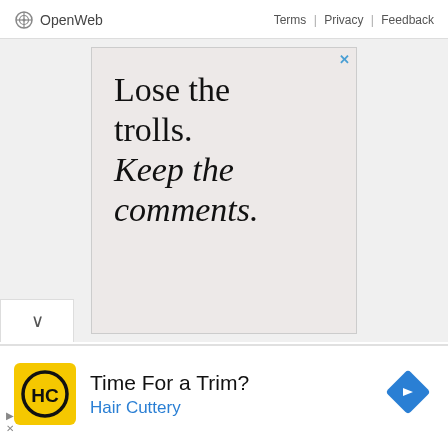OpenWeb   Terms | Privacy | Feedback
[Figure (screenshot): Advertisement banner with light pink/beige background. Large serif text reads: 'Lose the trolls. Keep the comments.' with 'Lose the trolls.' in normal style and 'Keep the comments.' in italic. Blue X close button in top right corner.]
[Figure (screenshot): Bottom advertisement for Hair Cuttery. Yellow square logo with black HC letters. Text: 'Time For a Trim?' and 'Hair Cuttery' in blue. Blue diamond navigation arrow on the right.]